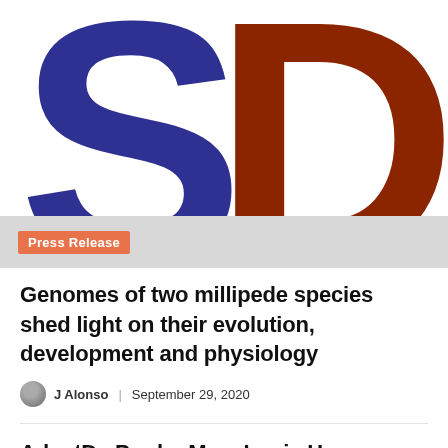[Figure (logo): Science Daily logo — large navy 'S' and brown 'D' letters on white background with a light gray press release banner at bottom]
Press Release
Genomes of two millipede species shed light on their evolution, development and physiology
J Alonso | September 29, 2020
AdaptDx Pro by MacuLogix Has Received a Medical Device Licence by Health Canada